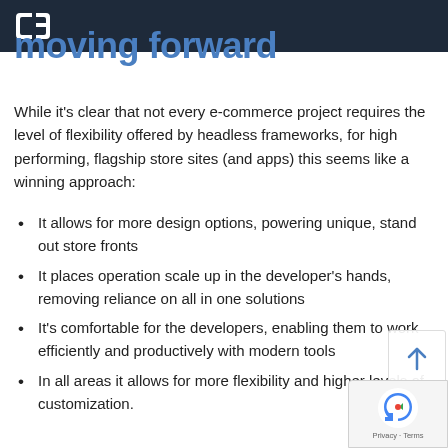[Logo] Moving Forward
moving forward
While it's clear that not every e-commerce project requires the level of flexibility offered by headless frameworks, for high performing, flagship store sites (and apps) this seems like a winning approach:
It allows for more design options, powering unique, stand out store fronts
It places operation scale up in the developer's hands, removing reliance on all in one solutions
It's comfortable for the developers, enabling them to work efficiently and productively with modern tools
In all areas it allows for more flexibility and higher levels of customization.